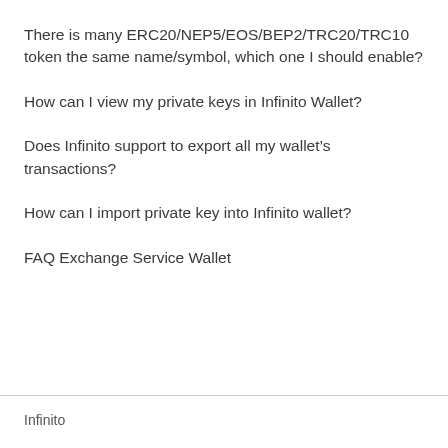There is many ERC20/NEP5/EOS/BEP2/TRC20/TRC10 token the same name/symbol, which one I should enable?
How can I view my private keys in Infinito Wallet?
Does Infinito support to export all my wallet’s transactions?
How can I import private key into Infinito wallet?
FAQ Exchange Service Wallet
Infinito